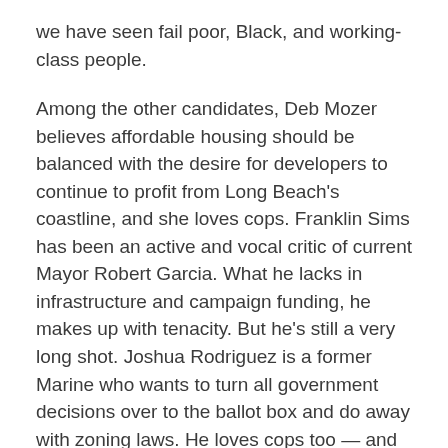we have seen fail poor, Black, and working-class people.
Among the other candidates, Deb Mozer believes affordable housing should be balanced with the desire for developers to continue to profit from Long Beach's coastline, and she loves cops. Franklin Sims has been an active and vocal critic of current Mayor Robert Garcia. What he lacks in infrastructure and campaign funding, he makes up with tenacity. But he's still a very long shot. Joshua Rodriguez is a former Marine who wants to turn all government decisions over to the ballot box and do away with zoning laws. He loves cops too — and wants to give them even more money. He also wants to cite and criminalize unhoused folks.